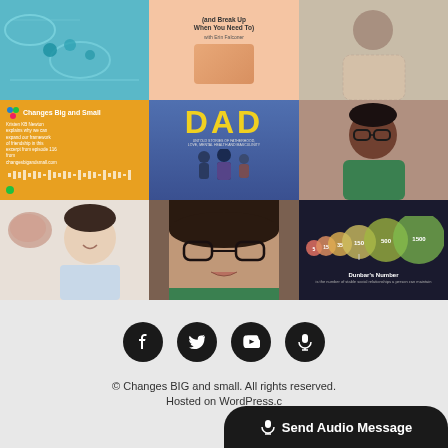[Figure (photo): 3x3 grid of podcast/blog images. Row 1: illustrated teal podcast art with people, salmon/peach colored podcast art with title about friendship, photo of person in patterned top. Row 2: Changes Big and Small orange podcast art, DAD book cover illustration (yellow text, figures walking), portrait of woman with glasses in green top. Row 3: woman with brain/food background, close-up portrait of woman with glasses, dark background Dunbar's Number infographic with overlapping colored circles.]
[Figure (infographic): Dunbar's Number infographic showing overlapping circles of different sizes with numbers 5, 15, 35, 150, 500, 1500 representing social group sizes on dark background]
[Figure (logo): Changes Big and Small podcast logo on orange background]
Social icons: Facebook, Twitter, YouTube, Podcast
© Changes BIG and small. All rights reserved.
Hosted on WordPress.c
🎤 Send Audio Message